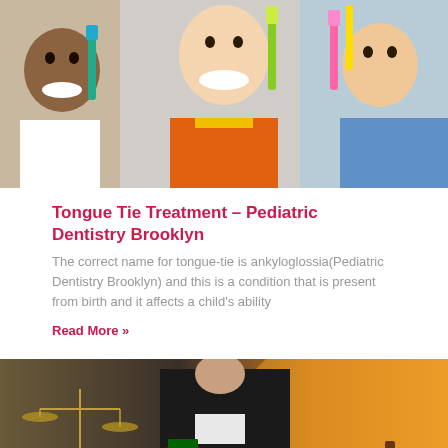[Figure (photo): Three people (adults and a child) smiling and holding colorful toothbrushes]
Tongue Tie Treatment – Pediatric Dentistry Brooklyn
The correct name for tongue-tie is ankyloglossia(Pediatric Dentistry Brooklyn) and this is a condition that is present from birth and it affects a child's ability
Read More »
[Figure (photo): A lawyer or legal professional writing at a desk with scales of justice and a gavel visible, warm golden light in background]